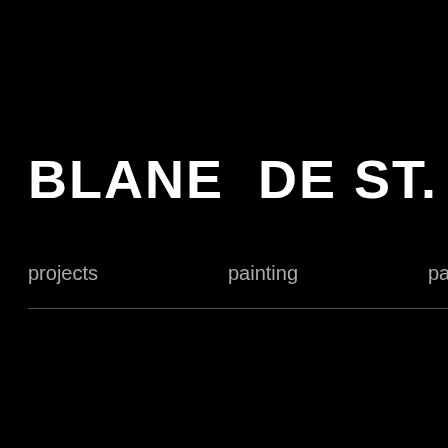BLANE DE ST. CROIX
projects  painting  paper  research